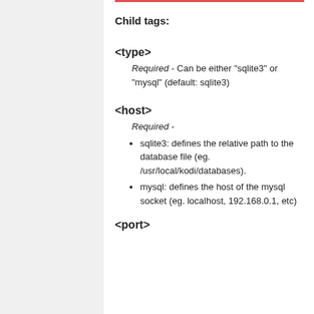Child tags:
<type>
Required - Can be either "sqlite3" or "mysql" (default: sqlite3)
<host>
Required -
sqlite3: defines the relative path to the database file (eg. /usr/local/kodi/databases).
mysql: defines the host of the mysql socket (eg. localhost, 192.168.0.1, etc)
<port>